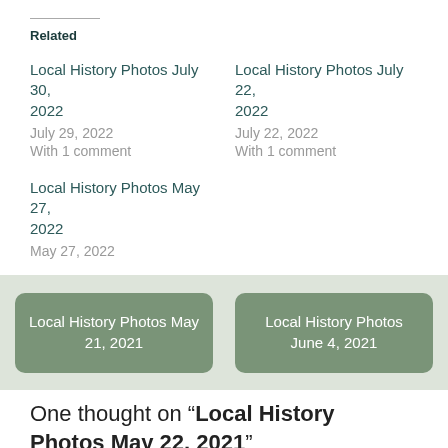Related
Local History Photos July 30, 2022
July 29, 2022
With 1 comment
Local History Photos July 22, 2022
July 22, 2022
With 1 comment
Local History Photos May 27, 2022
May 27, 2022
Local History Photos May 21, 2021
Local History Photos June 4, 2021
One thought on “Local History Photos May 22, 2021”